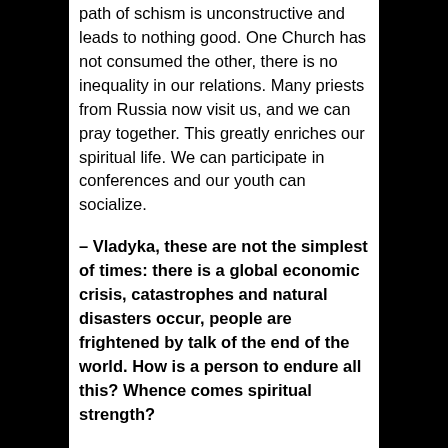path of schism is unconstructive and leads to nothing good. One Church has not consumed the other, there is no inequality in our relations. Many priests from Russia now visit us, and we can pray together. This greatly enriches our spiritual life. We can participate in conferences and our youth can socialize.
– Vladyka, these are not the simplest of times: there is a global economic crisis, catastrophes and natural disasters occur, people are frightened by talk of the end of the world. How is a person to endure all this? Whence comes spiritual strength?